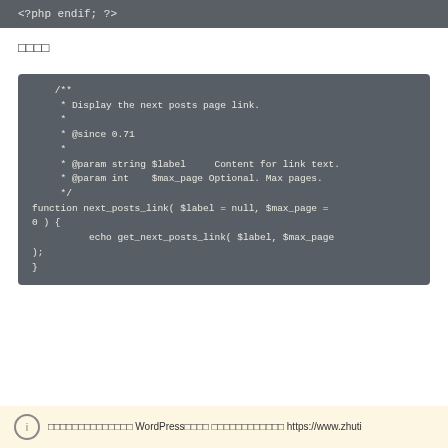[Figure (screenshot): Top code block showing PHP endif closing tag: <?php endif; ?>]
□□□□
[Figure (screenshot): Code block showing PHP function next_posts_link with docblock comment including @since 0.71, @param string $label Content for link text, @param int $max_page Optional. Max pages. Function body echoes get_next_posts_link($label, $max_page);]
□□□□□□□□□□□□□□ WordPress□□□□ □□□□□□□□□□□□ https://www.zhuti